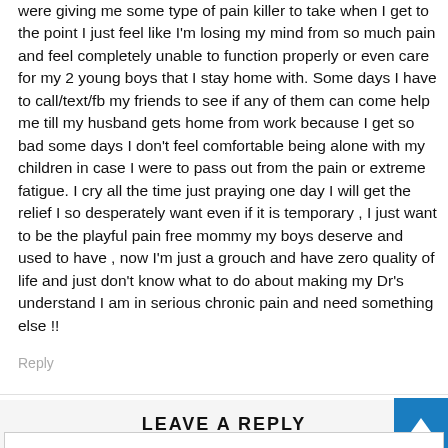were giving me some type of pain killer to take when I get to the point I just feel like I'm losing my mind from so much pain and feel completely unable to function properly or even care for my 2 young boys that I stay home with. Some days I have to call/text/fb my friends to see if any of them can come help me till my husband gets home from work because I get so bad some days I don't feel comfortable being alone with my children in case I were to pass out from the pain or extreme fatigue. I cry all the time just praying one day I will get the relief I so desperately want even if it is temporary , I just want to be the playful pain free mommy my boys deserve and used to have , now I'm just a grouch and have zero quality of life and just don't know what to do about making my Dr's understand I am in serious chronic pain and need something else !!
Reply
LEAVE A REPLY